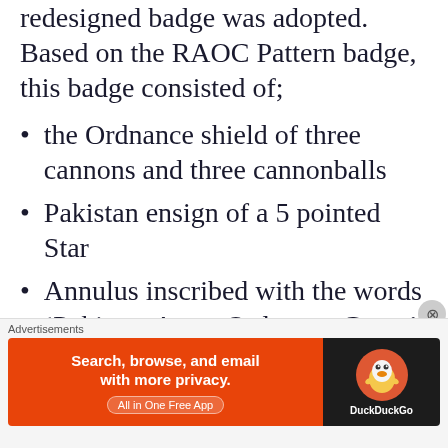redesigned badge was adopted. Based on the RAOC Pattern badge, this badge consisted of;
the Ordnance shield of three cannons and three cannonballs
Pakistan ensign of a 5 pointed Star
Annulus inscribed with the words ‘Pakistan Army Ordnance Corps’
The Colours Motto (See Tab...
Advertisements
[Figure (infographic): DuckDuckGo advertisement banner: orange left panel with text 'Search, browse, and email with more privacy. All in One Free App', dark right panel with DuckDuckGo duck logo and brand name.]